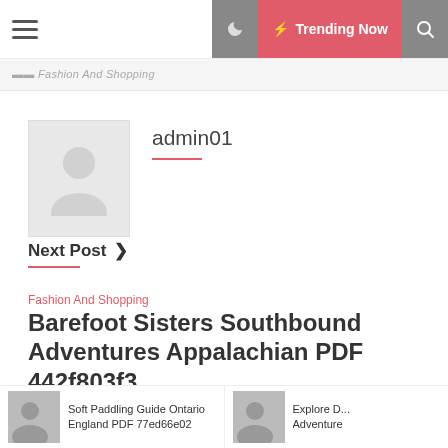Trending Now
Fashion And Shopping
admin01
Next Post >
Fashion And Shopping
Barefoot Sisters Southbound Adventures Appalachian PDF 442f803f3
Soft Paddling Guide Ontario England PDF 77ed66e02
Explore D... Adventure